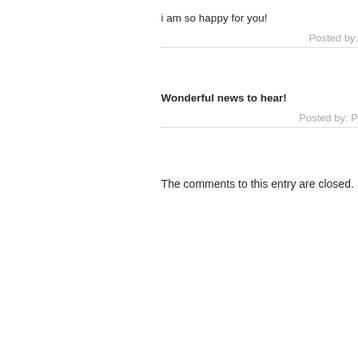i am so happy for you!
Posted by:
Wonderful news to hear!
Posted by: P
The comments to this entry are closed.